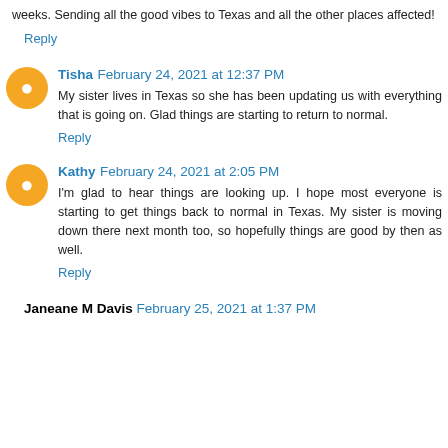weeks. Sending all the good vibes to Texas and all the other places affected!
Reply
Tisha February 24, 2021 at 12:37 PM
My sister lives in Texas so she has been updating us with everything that is going on. Glad things are starting to return to normal.
Reply
Kathy February 24, 2021 at 2:05 PM
I'm glad to hear things are looking up. I hope most everyone is starting to get things back to normal in Texas. My sister is moving down there next month too, so hopefully things are good by then as well.
Reply
Janeane M Davis February 25, 2021 at 1:37 PM